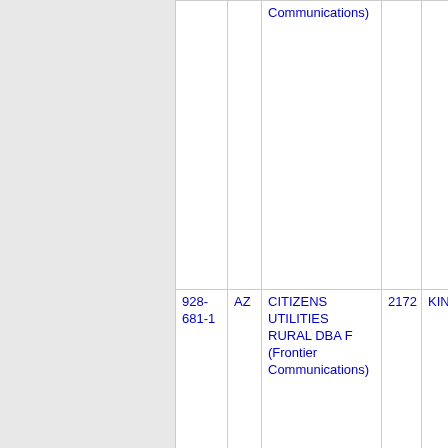| Phone | State | Company | Num | Location |
| --- | --- | --- | --- | --- |
|  |  | Communications) |  |  |
| 928-681-1 | AZ | CITIZENS UTILITIES RURAL DBA F (Frontier Communications) | 2172 | KING |